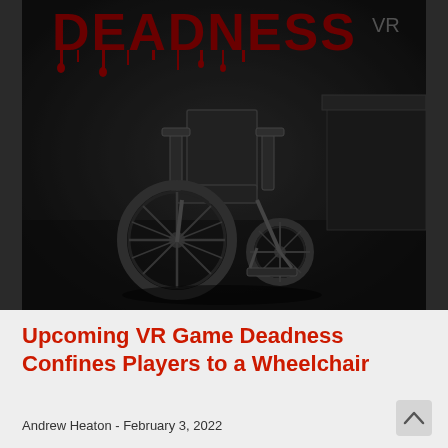[Figure (photo): Dark horror game promotional image showing a wheelchair in a dimly lit room with dripping red text spelling DEADNESS VR at the top]
Upcoming VR Game Deadness Confines Players to a Wheelchair
Andrew Heaton - February 3, 2022